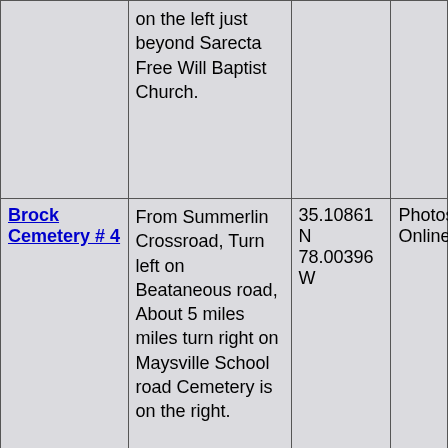| Name | Directions | Coordinates | Photos |
| --- | --- | --- | --- |
|  | on the left just beyond Sarecta Free Will Baptist Church. |  |  |
| Brock Cemetery # 4 | From Summerlin Crossroad, Turn left on Beataneous road, About 5 miles miles turn right on Maysville School road Cemetery is on the right. | 35.10861 N 78.00396 W | Photos Online |
| Barnett Brock Cemetery | Hwy 50, 1.1 mile west of Pasture Branch Rd on the right about .6 mi. off the Highway. | 35.86972 N 77.87622 W | Photos Online |
| David Brock Cemetery | on Pasture Branch Road (SR# 1953) going toward Greenovers turn | 34.83852 N 77.87670 W | Photos Online |